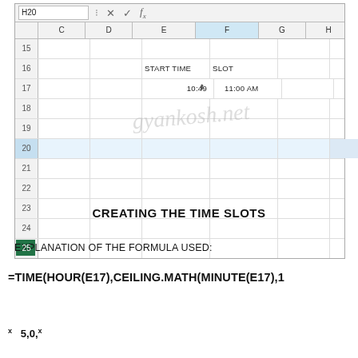[Figure (screenshot): Excel spreadsheet screenshot showing columns C through H, rows 15-25. Cell H20 is selected in the name box. Row 16 has 'START TIME' in column E and 'SLOT' in column F. Row 17 has '10:49' in column E and '11:00 AM' in column F. A watermark 'gyankosh.net' appears diagonally across the spreadsheet.]
CREATING THE TIME SLOTS
EXPLANATION OF THE FORMULA USED:
x   x